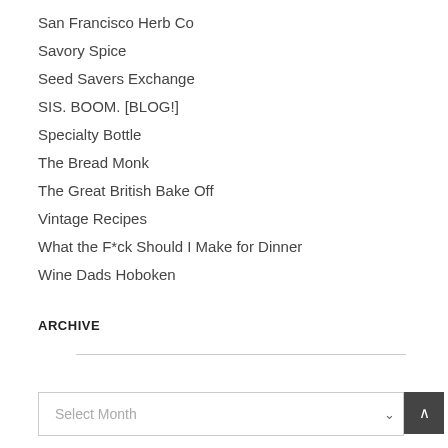San Francisco Herb Co
Savory Spice
Seed Savers Exchange
SIS. BOOM. [BLOG!]
Specialty Bottle
The Bread Monk
The Great British Bake Off
Vintage Recipes
What the F*ck Should I Make for Dinner
Wine Dads Hoboken
ARCHIVE
Select Month